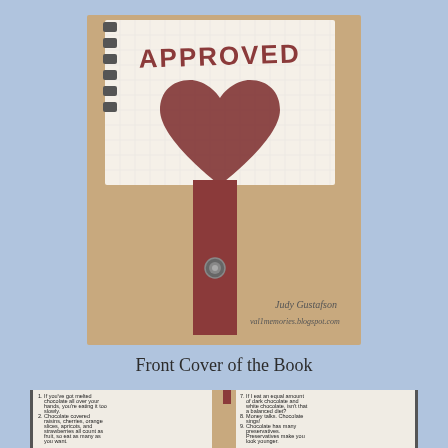[Figure (photo): Photo of the front cover of a handmade book. The cover has a kraft paper background with a notebook-style page at top showing 'APPROVED' in stamped letters and a large dark red/maroon heart shape. A dark red ribbon runs vertically with a brad/button fastener. Handwritten text reads 'Judy Gustafson' and 'val1memories.blogspot.com'.]
Front Cover of the Book
[Figure (photo): Photo of the interior pages of the handmade book showing two columns of text with numbered chocolate-themed humorous quotes (items 1-6 on left, items 7-12 on right), with the book spine visible in the center. At bottom right: 'We aren't meant to deal with life alone. Where's the chocolate?']